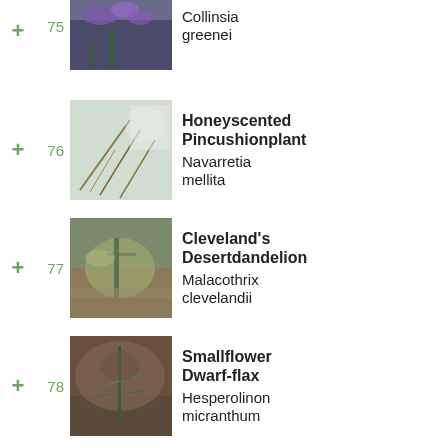75 Collinsia greenei
76 Honeyscented Pincushionplant - Navarretia mellita
77 Cleveland's Desertdandelion - Malacothrix clevelandii
78 Smallflower Dwarf-flax - Hesperolinon micranthum
79 Sleepy Catchfly - Silene antirrhina
80 Intermediate Suncup - Camissoniopsis